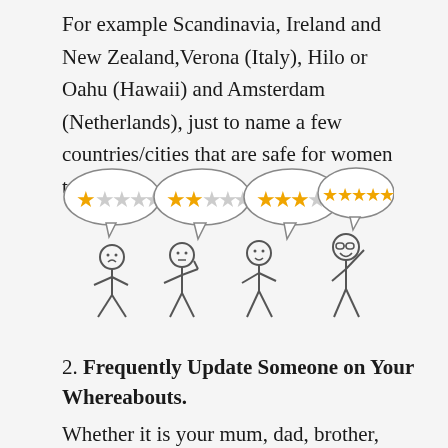For example Scandinavia, Ireland and New Zealand,Verona (Italy), Hilo or Oahu (Hawaii) and Amsterdam (Netherlands), just to name a few countries/cities that are safe for women travellers.
[Figure (illustration): Illustration of four stick figures each with a speech bubble showing star ratings from 1 to 5 stars. The figures display different emotions: sad (1 star), neutral (2 stars), slightly happy (3 stars), and very happy with glasses and raised arm (5 stars).]
2. Frequently Update Someone on Your Whereabouts.
Whether it is your mum, dad, brother, sister,